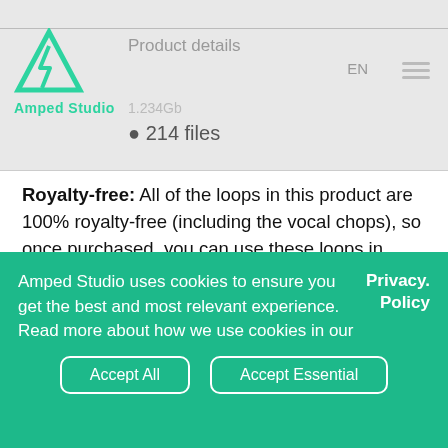Product details
1.234Gb
214 files
Royalty-free: All of the loops in this product are 100% royalty-free (including the vocal chops), so once purchased, you can use these loops in commercial releases without having to pay any hidden costs.
Included samples:
Amped Studio uses cookies to ensure you get the best and most relevant experience. Read more about how we use cookies in our Privacy. Policy
Accept All   Accept Essential